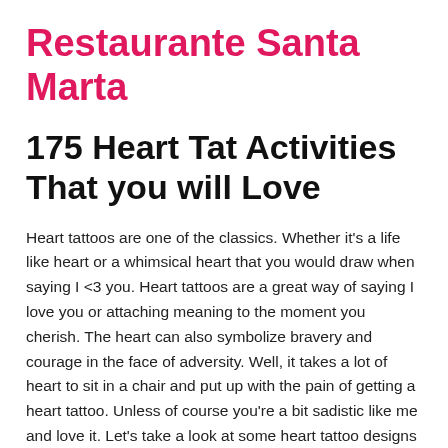Restaurante Santa Marta
175 Heart Tat Activities That you will Love
Heart tattoos are one of the classics. Whether it's a life like heart or a whimsical heart that you would draw when saying I <3 you. Heart tattoos are a great way of saying I love you or attaching meaning to the moment you cherish. The heart can also symbolize bravery and courage in the face of adversity. Well, it takes a lot of heart to sit in a chair and put up with the pain of getting a heart tattoo. Unless of course you're a bit sadistic like me and love it. Let's take a look at some heart tattoo designs and ideas?